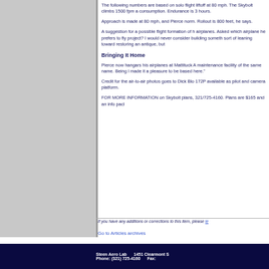The following numbers are based on solo flight liftoff at 80 mph. The Skybolt climbs 1500 fpm a consumption. Endurance is 3 hours.
Approach is made at 80 mph, and Pierce norm. Rollout is 800 feet, he says.
A suggestion for a possible flight formation of h airplanes. Asked which airplane he prefers to fly project? I would never consider building someth sort of leaning toward restoring an antique, but
Bringing It Home
Pierce now hangars his airplanes at Mattituck A maintenance facility of the same name. Being l made it a pleasure to be based here."
Credit for the air-to-air photos goes to Dick Bloo 172P available as pilot and camera platform.
FOR MORE INFORMATION on Skybolt plans, 321/725-4160. Plans are $165 and an info pach
If you have any additions or corrections to this item, please le
Go to Articles archives
Steen Aero Lab     1451 Clearmont S    Phone: (321) 725-4160     Fax: